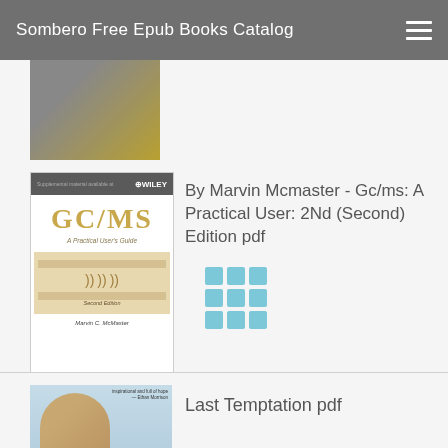Sombero Free Epub Books Catalog
[Figure (photo): Partial book cover visible at top, cropped]
[Figure (photo): GC/MS: A Practical User's Guide book cover by Marvin C. McMaster, Wiley publisher, second edition]
By Marvin Mcmaster - Gc/ms: A Practical User: 2Nd (Second) Edition pdf
[Figure (other): 3x3 grid of blue squares icon]
[Figure (photo): Partial book cover showing a person's face, for Last Temptation]
Last Temptation pdf